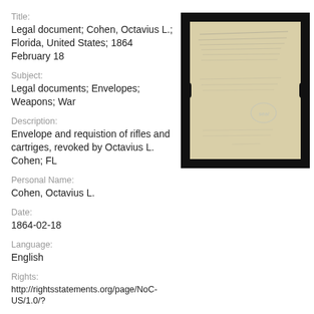Title:
Legal document; Cohen, Octavius L.; Florida, United States; 1864 February 18
Subject:
Legal documents; Envelopes; Weapons; War
[Figure (photo): Photograph of a historical handwritten legal document, yellowed paper with cursive script, mounted on black background with notches on sides.]
Description:
Envelope and requistion of rifles and cartriges, revoked by Octavius L. Cohen; FL
Personal Name:
Cohen, Octavius L.
Date:
1864-02-18
Language:
English
Rights:
http://rightsstatements.org/page/NoC-US/1.0/?
Collection: